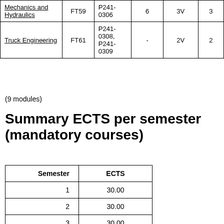|  |  |  |  |  |  |
| --- | --- | --- | --- | --- | --- |
| Mechanics and Hydraulics | FT59 | P241-0306 | 6 | 3V | 3 |
| Truck Engineering | FT61 | P241-0308, P241-0309 | - | 2V | 2 |
(9 modules)
Summary ECTS per semester (mandatory courses)
| Semester | ECTS |
| --- | --- |
| 1 | 30.00 |
| 2 | 30.00 |
| 3 | 30.00 |
| 4 | 30.00 |
| 5 | 30.00 |